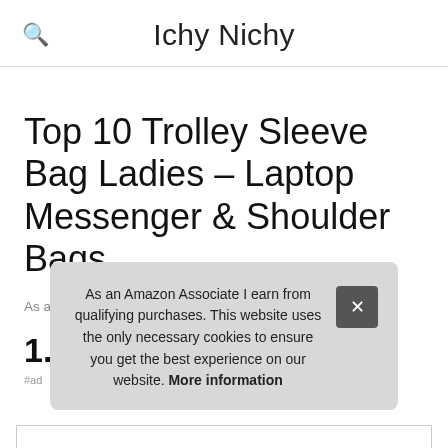Ichy Nichy
Top 10 Trolley Sleeve Bag Ladies – Laptop Messenger & Shoulder Bags
As an Amazon Associate I earn from qualifying purchases.
1. MIDAUR
#ad
As an Amazon Associate I earn from qualifying purchases. This website uses the only necessary cookies to ensure you get the best experience on our website. More information